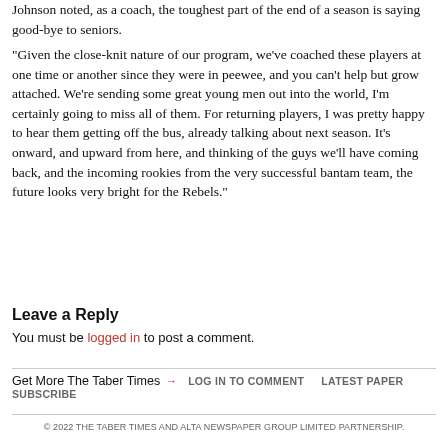Johnson noted, as a coach, the toughest part of the end of a season is saying good-bye to seniors.
“Given the close-knit nature of our program, we’ve coached these players at one time or another since they were in peewee, and you can’t help but grow attached. We’re sending some great young men out into the world, I’m certainly going to miss all of them. For returning players, I was pretty happy to hear them getting off the bus, already talking about next season. It’s onward, and upward from here, and thinking of the guys we’ll have coming back, and the incoming rookies from the very successful bantam team, the future looks very bright for the Rebels.”
Leave a Reply
You must be logged in to post a comment.
Get More The Taber Times →   LOG IN TO COMMENT   LATEST PAPER   SUBSCRIBE
© 2022 THE TABER TIMES AND ALTA NEWSPAPER GROUP LIMITED PARTNERSHIP.